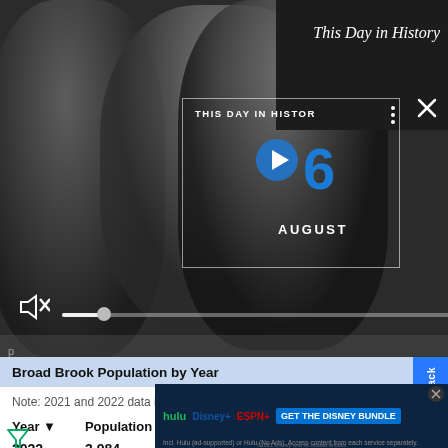[Figure (screenshot): A video player showing 'This Day in History' with a play button, date '6 AUGUST', mute icon, progress bar, and fullscreen controls overlaid on a dark background with people. A 'This Day in History' label appears top right on a dark panel.]
Note: 2021 and 2022 data is projected
Broad Brook Population by Year
| Year | Population | Growth | Annual Growth Ra |
| --- | --- | --- | --- |
| 2022 | 3,984 | -7 | -0.18% |
[Figure (screenshot): Advertisement banner: 'GET THE DISNEY BUNDLE' featuring Hulu, Disney+, ESPN+ logos with small print about subscription terms.]